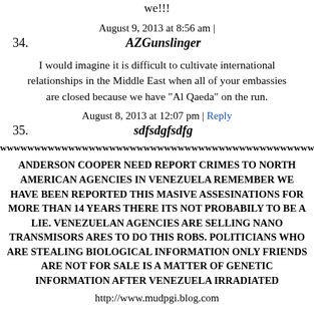we!!!
August 9, 2013 at 8:56 am |
34.   AZGunslinger
I would imagine it is difficult to cultivate international relationships in the Middle East when all of your embassies are closed because we have "Al Qaeda" on the run.
August 8, 2013 at 12:07 pm | Reply
35.   sdfsdgfsdfg
wwwwwwwwwwwwwwwwwwwwwwwwwwwwwwwwwwwwwwwww
ANDERSON COOPER NEED REPORT CRIMES TO NORTH AMERICAN AGENCIES IN VENEZUELA REMEMBER WE HAVE BEEN REPORTED THIS MASIVE ASSESINATIONS FOR MORE THAN 14 YEARS THERE ITS NOT PROBABILY TO BE A LIE. VENEZUELAN AGENCIES ARE SELLING NANO TRANSMISORS ARES TO DO THIS ROBS. POLITICIANS WHO ARE STEALING BIOLOGICAL INFORMATION ONLY FRIENDS ARE NOT FOR SALE IS A MATTER OF GENETIC INFORMATION AFTER VENEZUELA IRRADIATED
http://www.mudpgi.blog.com